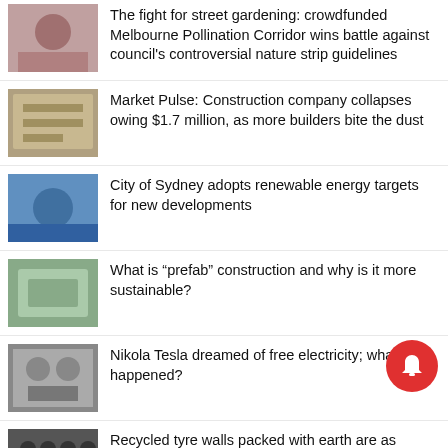The fight for street gardening: crowdfunded Melbourne Pollination Corridor wins battle against council's controversial nature strip guidelines
Market Pulse: Construction company collapses owing $1.7 million, as more builders bite the dust
City of Sydney adopts renewable energy targets for new developments
What is “prefab” construction and why is it more sustainable?
Nikola Tesla dreamed of free electricity; what happened?
Recycled tyre walls packed with earth are as strong as traditional building materials, study shows
Brisbane Airport onboards a new AI system to cut HVAC energy use
$700m rumours swirl in waste industry